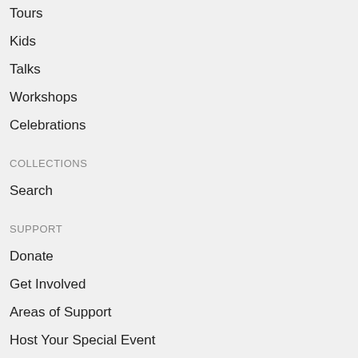Tours
Kids
Talks
Workshops
Celebrations
COLLECTIONS
Search
SUPPORT
Donate
Get Involved
Areas of Support
Host Your Special Event
Volunteer
English ▼